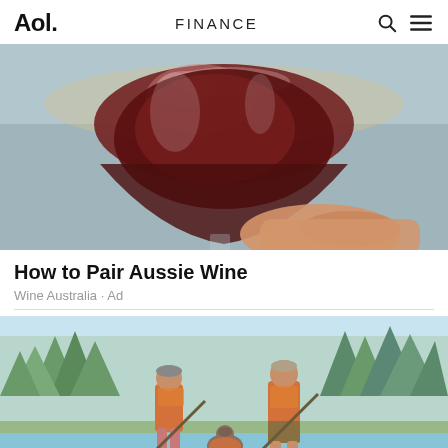Aol. | FINANCE
[Figure (photo): A hand holding a wine glass with red wine against a blurred outdoor background]
How to Pair Aussie Wine
Wine Australia · Ad
[Figure (illustration): Illustration of two people paddle boarding on a lake with a dog between them, surrounded by trees in a colorful hand-drawn style]